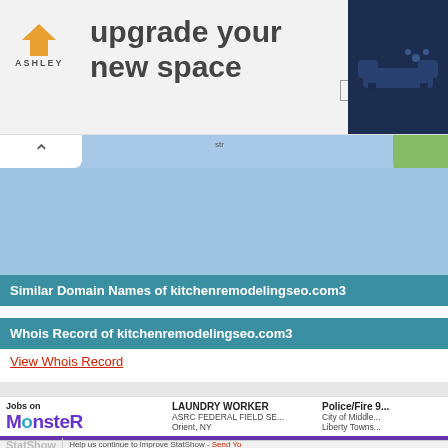[Figure (infographic): Ashley Furniture advertisement banner: 'upgrade your new space' with shop now button and couch image]
[Figure (map): Partial map view with blue/water area and green land area, with collapse tab showing chevron up]
Similar Domain Names of kitchenremodelingseo.com3
Whois Record of kitchenremodelingseo.com3
View Whois Record
[Figure (infographic): Monster.com jobs advertisement: LAUNDRY WORKER at ASRC FEDERAL FIELD SE... in Orient, NY; Police/Fire 9... at City of Middle... Liberty Towns...]
StatShow   Help us continue to improve StatShow - Send Yo...